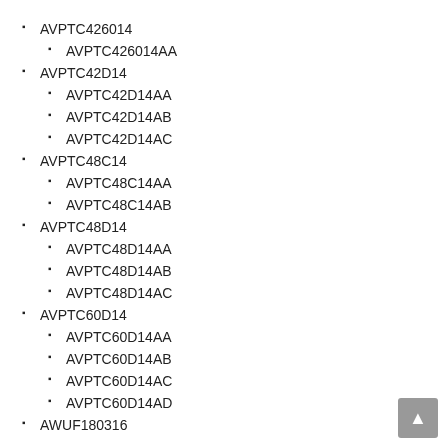AVPTC426014
AVPTC426014AA
AVPTC42D14
AVPTC42D14AA
AVPTC42D14AB
AVPTC42D14AC
AVPTC48C14
AVPTC48C14AA
AVPTC48C14AB
AVPTC48D14
AVPTC48D14AA
AVPTC48D14AB
AVPTC48D14AC
AVPTC60D14
AVPTC60D14AA
AVPTC60D14AB
AVPTC60D14AC
AVPTC60D14AD
AWUF180316